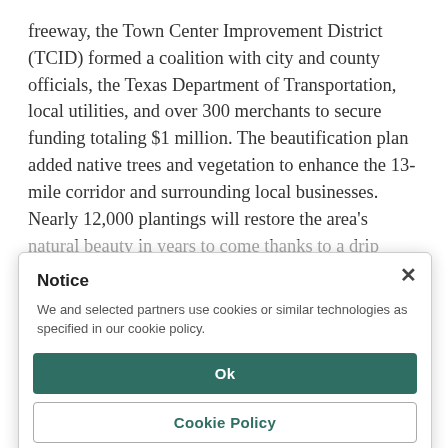freeway, the Town Center Improvement District (TCID) formed a coalition with city and county officials, the Texas Department of Transportation, local utilities, and over 300 merchants to secure funding totaling $1 million. The beautification plan added native trees and vegetation to enhance the 13-mile corridor and surrounding local businesses. Nearly 12,000 plantings will restore the area's natural beauty in years to come thanks to a drip irrigation system. The TCID has promoted the project as a model for other small communities by distributing the 60-page
Notice
We and selected partners use cookies or similar technologies as specified in our cookie policy.
Ok
Cookie Policy